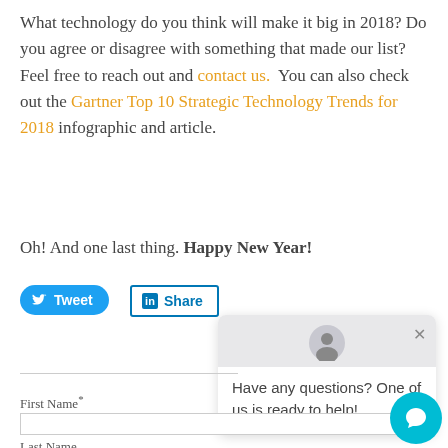What technology do you think will make it big in 2018? Do you agree or disagree with something that made our list? Feel free to reach out and contact us.  You can also check out the Gartner Top 10 Strategic Technology Trends for 2018 infographic and article.
Oh! And one last thing. Happy New Year!
[Figure (screenshot): Twitter Tweet button (blue rounded) and LinkedIn Share button (white with blue border)]
[Figure (screenshot): Chat popup overlay with avatar, close button, and message: Have any questions? One of us is ready to help!]
First Name*
Last Name